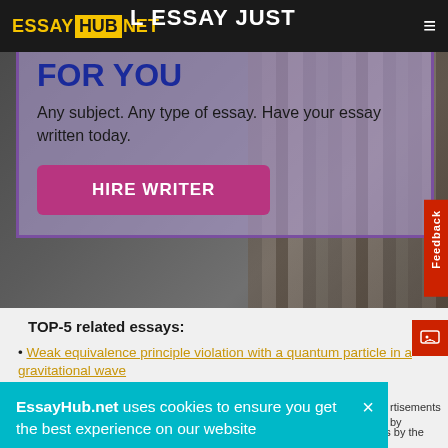ESSAYHUB NET
FOR YOU
Any subject. Any type of essay. Have your essay written today.
HIRE WRITER
TOP-5 related essays:
Weak equivalence principle violation with a quantum particle in a gravitational wave
Think global act local
Article about women
EssayHub.net uses cookies to ensure you get the best experience on our website
rtisements by
ents by the